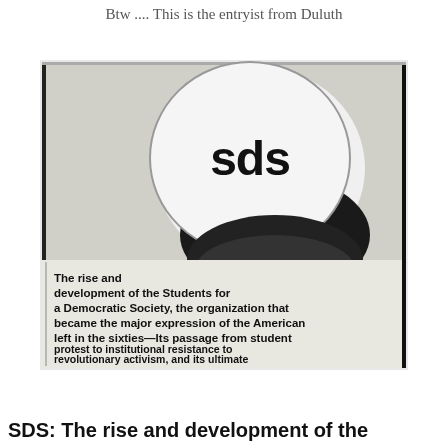Btw .... This is the entryist from Duluth
[Figure (photo): Black and white photograph of a book cover showing an SDS (Students for a Democratic Society) button/badge with text below reading: The rise and development of the Students for a Democratic Society, the organization that became the major expression of the American left in the sixties—Its passage from student protest to institutional resistance to revolutionary activism, and its ultimate impact on American politics and life]
SDS: The rise and development of the